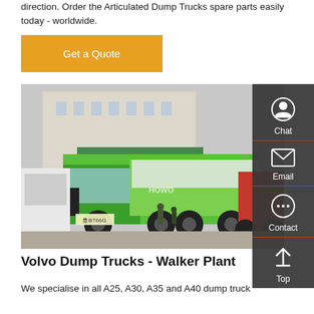direction. Order the Articulated Dump Trucks spare parts easily today - worldwide.
[Figure (infographic): Orange 'Get a Quote' button]
[Figure (photo): A green HOWO dump truck parked in front of a building, with other trucks visible in the background. A sidebar with Chat, Email, Contact, and Top buttons overlays the right side.]
Volvo Dump Trucks - Walker Plant
We specialise in all A25, A30, A35 and A40 dump truck